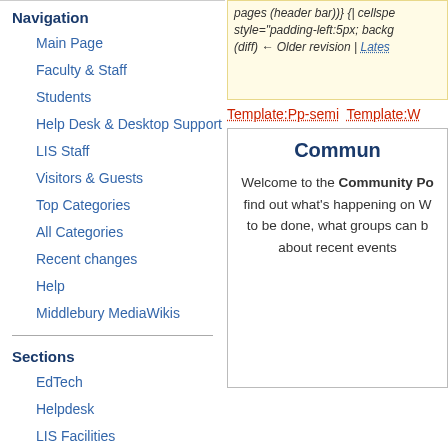Navigation
Main Page
Faculty & Staff
Students
Help Desk & Desktop Support
LIS Staff
Visitors & Guests
Top Categories
All Categories
Recent changes
Help
Middlebury MediaWikis
Sections
EdTech
Helpdesk
LIS Facilities
Film and Media Culture
Technology
pages (header bar))} {| cellspacing style="padding-left:5px; backg (diff) ← Older revision | Lates
Template:Pp-semi  Template:W
Commun
Welcome to the Community Po find out what's happening on W to be done, what groups can b about recent events